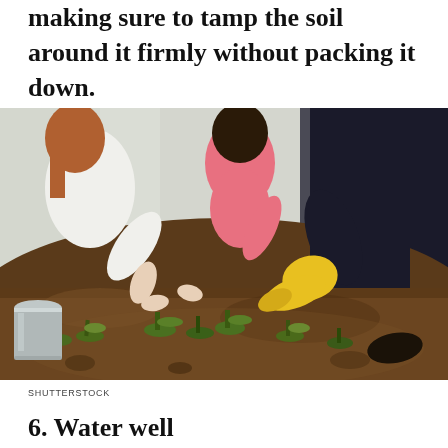making sure to tamp the soil around it firmly without packing it down.
[Figure (photo): People planting seedlings in garden soil. Two adults and a child are crouching over a garden bed with small green plants. One person is wearing yellow rubber gardening gloves. A metal bucket is visible on the left.]
SHUTTERSTOCK
6. Water well